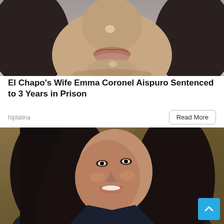[Figure (photo): Close-up photo of a woman's face from nose to chin with long dark hair against a grey background — appears to be a mugshot or portrait photo]
El Chapo's Wife Emma Coronel Aispuro Sentenced to 3 Years in Prison
hiplatina
[Figure (photo): Portrait photo of a smiling dark-haired woman in dark clothing against a brownish/tan background]